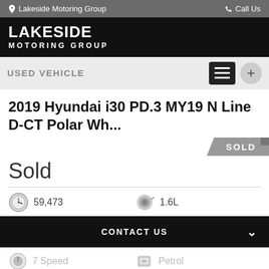Lakeside Motoring Group  Call Us
[Figure (logo): Lakeside Motoring Group logo — white bold text on black background]
USED VEHICLE
2019 Hyundai i30 PD.3 MY19 N Line D-CT Polar Wh...
Sold
59,473
1.6L
CONTACT US
7 Speed
Petrol
FINANCE THIS VEHICLE